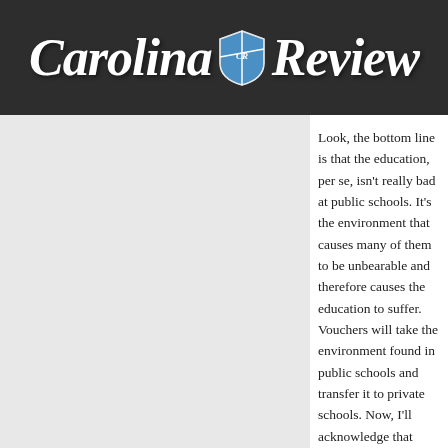Carolina Review
school doesn't mean you honestly care about his/her education, especially when you're not paying anything at all for it.
Look, the bottom line is that the education, per se, isn't really bad at public schools. It's the environment that causes many of them to be unbearable and therefore causes the education to suffer. Vouchers will take the environment found in public schools and transfer it to private schools. Now, I'll acknowledge that private schools in the 21st-century United States will always be better than the public schools, but basically the playing field is going to be much more level if vouchers become more prominent than they already are. Even private schools are going to become pretty terrible. The answer to our education